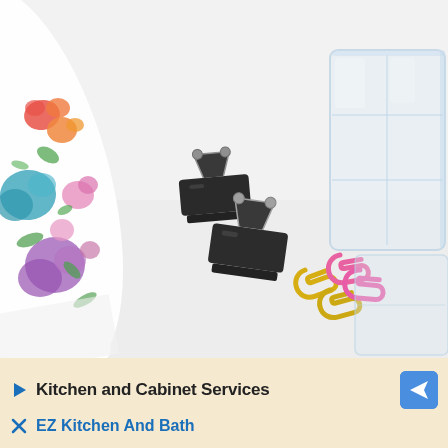[Figure (photo): Overhead flat-lay photo on white surface showing: floral-patterned cylindrical container/tube on the left with colorful roses (red, orange, teal/blue, purple, pink, green), two black binder clips in the center-left area, colorful paper clips (pink, yellow/gold) in the center, and a clear plastic organizer/container on the right side.]
Kitchen and Cabinet Services
EZ Kitchen And Bath